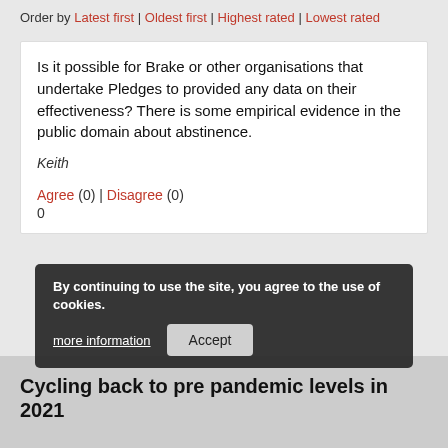Order by Latest first | Oldest first | Highest rated | Lowest rated
Is it possible for Brake or other organisations that undertake Pledges to provided any data on their effectiveness? There is some empirical evidence in the public domain about abstinence.
Keith
Agree (0) | Disagree (0)
0
By continuing to use the site, you agree to the use of cookies.
more information   Accept
Cycling back to pre pandemic levels in 2021